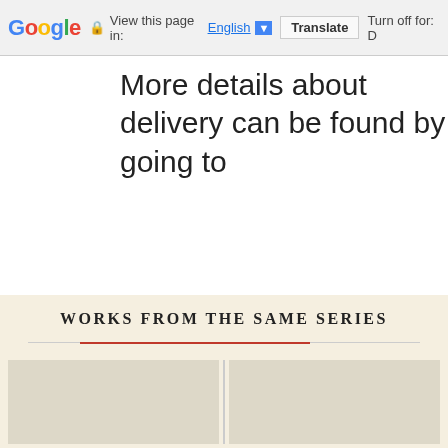Google  View this page in: English [▼]  Translate  Turn off for: D
More details about delivery can be found by going to
WORKS FROM THE SAME SERIES
[Figure (other): Two book cover thumbnail columns in beige section]
1  ☰  ADD TO CART
SIZE GUIDE
ASK QUESTION
G  Select Language  ▼